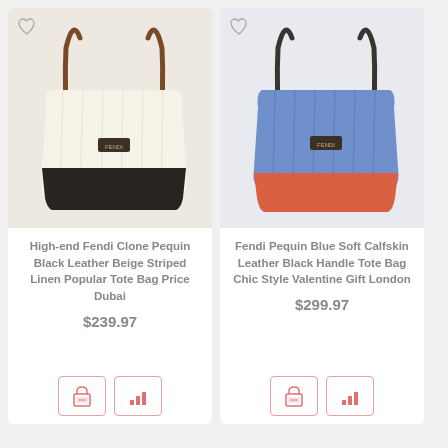[Figure (photo): Fendi tote bag, beige/cream body with black leather bottom panel and brown leather handles]
High-end Fendi Clone Pequin Black Leather Beige Striped Linen Popular Tote Bag Price Dubai
$239.97
[Figure (photo): Fendi tote bag, blue body with coral/red leather bottom panel and dark leather handles]
Fendi Pequin Blue Soft Calfskin Leather Black Handle Tote Bag Chic Style Valentine Gift London
$299.97